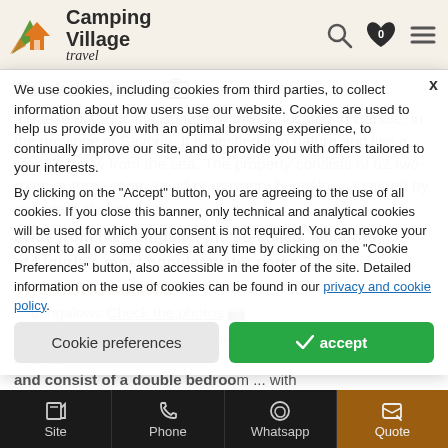Camping Village travel — navigation header with search, favorites (0), and menu icons
Check the photos 📷
Il Paese di Ciribì is a Bungalow Village located in Ceriale, in the province of Savona. It is nestled into nature and lies a stone's throw from the sea. The property consists of 62 two-room or three-room wood or masonry bungalows inspired by mountain chalets of Liguria's most popular water parks.
THE BUNGALOWS
The campsite is equipped with several types of bungalos ... be ... 2 m2 and consist of a double bedroom with
Cookie banner: We use cookies, including cookies from third parties, to collect information about how users use our website. Cookies are used to help us provide you with an optimal browsing experience, to continually improve our site, and to provide you with offers tailored to your interests. By clicking on the "Accept" button, you are agreeing to the use of all cookies. If you close this banner, only technical and analytical cookies will be used for which your consent is not required. You can revoke your consent to all or some cookies at any time by clicking on the "Cookie Preferences" button, also accessible in the footer of the site. Detailed information on the use of cookies can be found in our privacy and cookie policy.
Site | Phone | Whatsapp | Quote